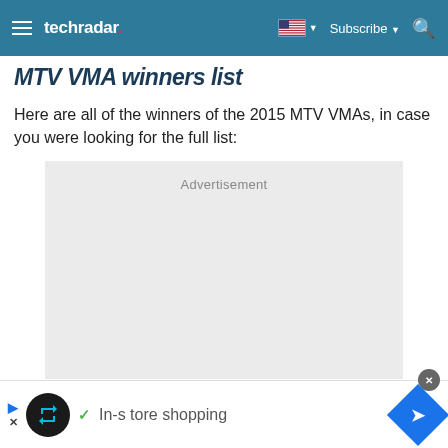techradar — Subscribe
MTV VMA winners list
Here are all of the winners of the 2015 MTV VMAs, in case you were looking for the full list:
[Figure (other): Advertisement placeholder block]
In-store shopping